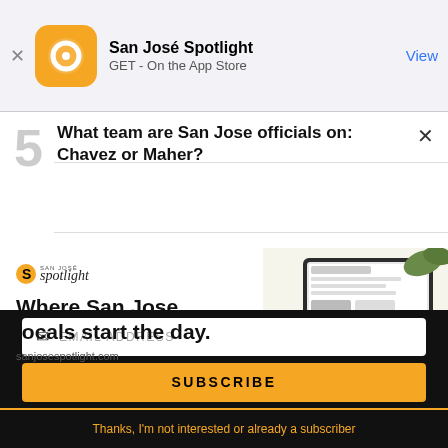San José Spotlight — GET - On the App Store — View
What team are San Jose officials on: Chavez or Maher?
[Figure (illustration): San José Spotlight advertisement: logo, headline 'Where San Jose locals start the day.', URL sanjosespotlight.com, and a tablet/coffee image on the right side]
EMAIL ADDRESS
SUBSCRIBE
Thanks, I'm not interested or already a subscriber